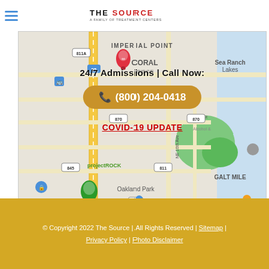THE SOURCE | A FAMILY OF TREATMENT CENTERS
[Figure (map): Google Maps screenshot showing Fort Lauderdale area including IMPERIAL POINT, CORAL RIDGE, Sea Ranch Lakes, Oakland Park, GALT MILE neighborhoods with road network. Shows markers for The Source treatment center and projectROCK locations.]
24/7 Admissions | Call Now:
📞 (800) 204-0418
COVID-19 UPDATE
© Copyright 2022 The Source | All Rights Reserved | Sitemap | Privacy Policy | Photo Disclaimer